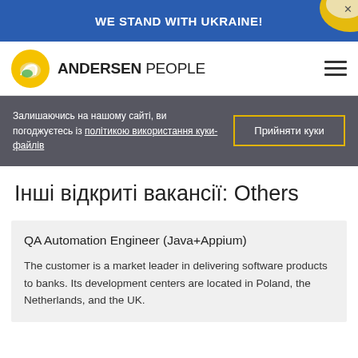WE STAND WITH UKRAINE!
[Figure (logo): Andersen People logo with yellow icon and wordmark]
Залишаючись на нашому сайті, ви погоджуєтесь із політикою використання куки-файлів
Прийняти куки
Інші відкриті вакансії: Others
QA Automation Engineer (Java+Appium)
The customer is a market leader in delivering software products to banks. Its development centers are located in Poland, the Netherlands, and the UK.